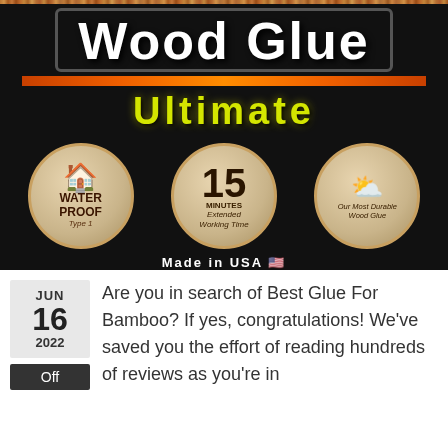[Figure (photo): Product label photo of Wood Glue Ultimate showing waterproof, 15 minutes working time, and durable wood glue icons on a dark background]
JUN 16 2022
Off
Are you in search of Best Glue For Bamboo? If yes, congratulations! We've saved you the effort of reading hundreds of reviews as you're in